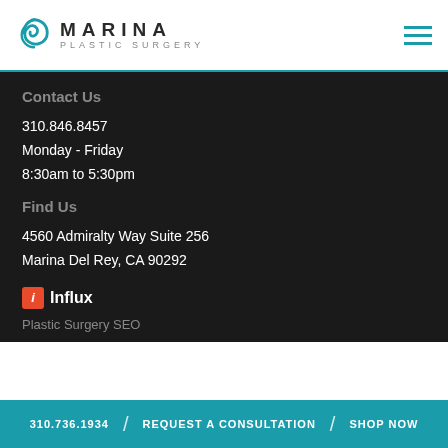[Figure (logo): Marina Plastic Surgery logo with teal swirl icon and stylized text]
Contact Us
310.846.8457
Monday - Friday
8:30am to 5:30pm
Find Us
4560 Admiralty Way Suite 256
Marina Del Rey, CA 90292
[Figure (logo): Influx logo with red italic 'i' icon and bold white 'Influx' text]
Plastic Surgery SEO
310.736.1934 / REQUEST A CONSULTATION / SHOP NOW